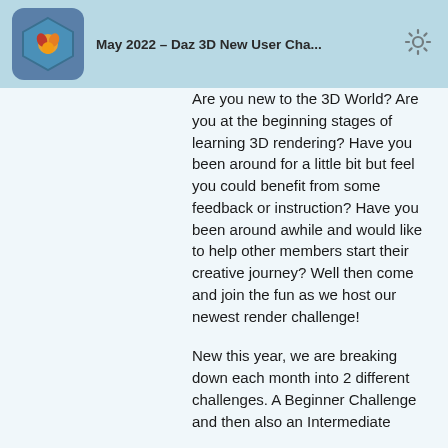May 2022 – Daz 3D New User Challenge
Are you new to the 3D World? Are you at the beginning stages of learning 3D rendering? Have you been around for a little bit but feel you could benefit from some feedback or instruction? Have you been around awhile and would like to help other members start their creative journey? Well then come and join the fun as we host our newest render challenge!

New this year, we are breaking down each month into 2 different challenges. A Beginner Challenge and then also an Intermediate